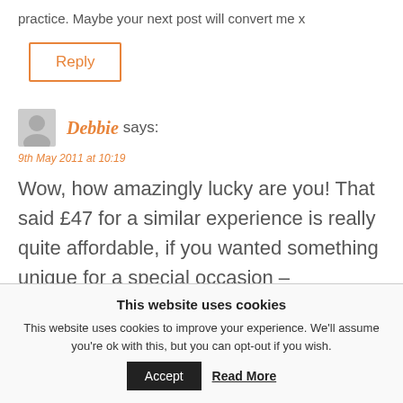practice. Maybe your next post will convert me x
Reply
Debbie says:
9th May 2011 at 10:19
Wow, how amazingly lucky are you! That said £47 for a similar experience is really quite affordable, if you wanted something unique for a special occasion –
This website uses cookies
This website uses cookies to improve your experience. We'll assume you're ok with this, but you can opt-out if you wish.
Accept
Read More